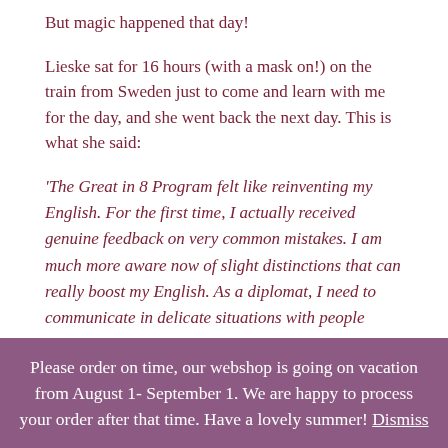But magic happened that day!
Lieske sat for 16 hours (with a mask on!) on the train from Sweden just to come and learn with me for the day, and she went back the next day. This is what she said:
‘The Great in 8 Program felt like reinventing my English. For the first time, I actually received genuine feedback on very common mistakes. I am much more aware now of slight distinctions that can really boost my English. As a diplomat, I need to communicate in delicate situations with people
Please order on time, our webshop is going on vacation from August 1- September 1. We are happy to process your order after that time. Have a lovely summer! Dismiss